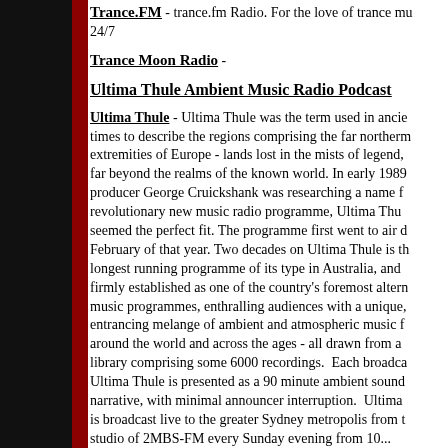Trance.FM - trance.fm Radio. For the love of trance mu... 24/7
Trance Moon Radio -
Ultima Thule Ambient Music Radio Podcast
Ultima Thule - Ultima Thule was the term used in ancie... times to describe the regions comprising the far northerm extremities of Europe - lands lost in the mists of legend, far beyond the realms of the known world. In early 1989 producer George Cruickshank was researching a name f... revolutionary new music radio programme, Ultima Thu... seemed the perfect fit. The programme first went to air d... February of that year. Two decades on Ultima Thule is th... longest running programme of its type in Australia, and firmly established as one of the country's foremost alter... music programmes, enthralling audiences with a unique, entrancing melange of ambient and atmospheric music f... around the world and across the ages - all drawn from a library comprising some 6000 recordings. Each broadca... Ultima Thule is presented as a 90 minute ambient sound narrative, with minimal announcer interruption. Ultima is broadcast live to the greater Sydney metropolis from t... studio of 2MBS-FM every Sunday evening from 10...